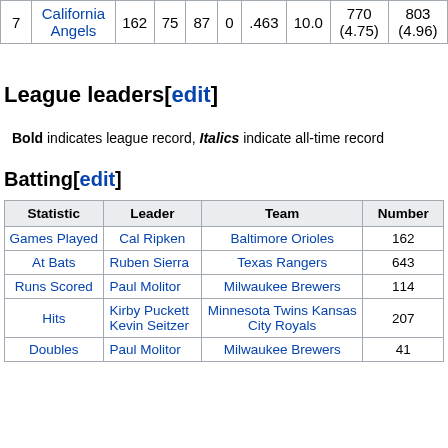|  |  |  |  |  |  |  |  |  |  |
| --- | --- | --- | --- | --- | --- | --- | --- | --- | --- |
| 7 | California Angels | 162 | 75 | 87 | 0 | .463 | 10.0 | 770 (4.75) | 803 (4.96) |
League leaders[edit]
Bold indicates league record, Italics indicate all-time record
Batting[edit]
| Statistic | Leader | Team | Number |
| --- | --- | --- | --- |
| Games Played | Cal Ripken | Baltimore Orioles | 162 |
| At Bats | Ruben Sierra | Texas Rangers | 643 |
| Runs Scored | Paul Molitor | Milwaukee Brewers | 114 |
| Hits | Kirby Puckett Kevin Seitzer | Minnesota Twins Kansas City Royals | 207 |
| Doubles | Paul Molitor | Milwaukee Brewers | 41 |